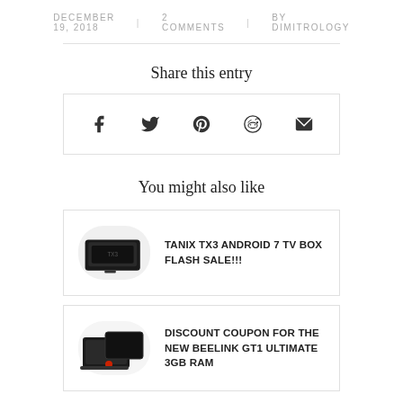DECEMBER 19, 2018   2 COMMENTS   BY DIMITROLOGY
Share this entry
[Figure (infographic): Social share buttons: Facebook, Twitter, Pinterest, Reddit, Email]
You might also like
TANIX TX3 ANDROID 7 TV BOX FLASH SALE!!!
DISCOUNT COUPON FOR THE NEW BEELINK GT1 ULTIMATE 3GB RAM